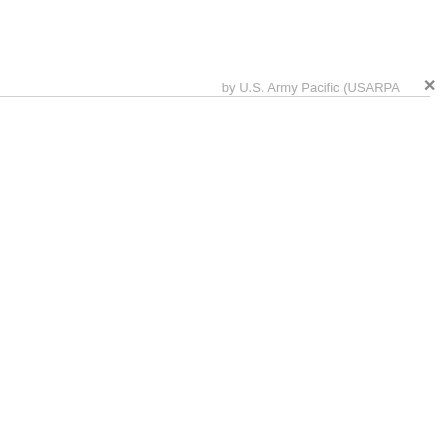by U.S. Army Pacific (USARPA
×